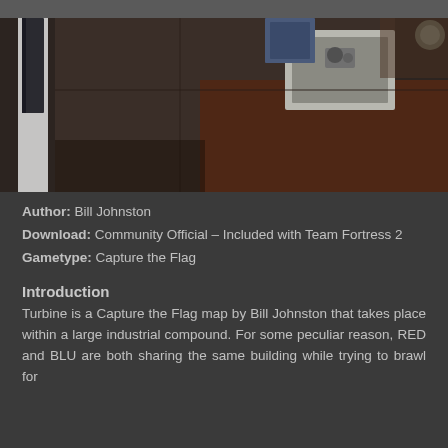[Figure (screenshot): In-game screenshot of Team Fortress 2 map Turbine, showing an overhead view of an industrial interior with dark floor, some equipment and a framed object visible from above.]
Author: Bill Johnston
Download: Community Official – Included with Team Fortress 2
Gametype: Capture the Flag
Introduction
Turbine is a Capture the Flag map by Bill Johnston that takes place within a large industrial compound. For some peculiar reason, RED and BLU are both sharing the same building while trying to brawl for